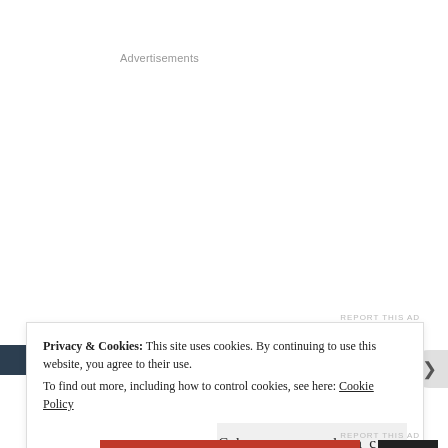Advertisements
REPORT THIS AD
Privacy & Cookies: This site uses cookies. By continuing to use this website, you agree to their use.
To find out more, including how to control cookies, see here: Cookie Policy
Close and accept
REPORT THIS AD